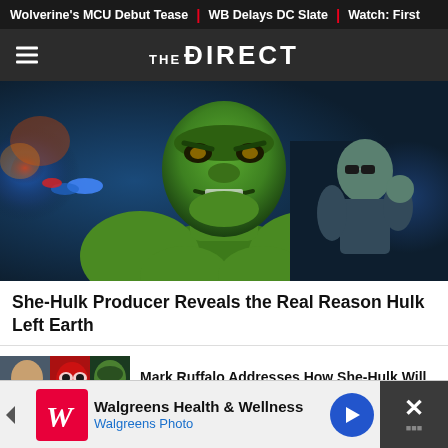Wolverine's MCU Debut Tease | WB Delays DC Slate | Watch: First
[Figure (logo): The Direct logo with hamburger menu on dark background]
[Figure (photo): Hulk close-up face with green skin, angry expression, muscular body, blue police lights background, man removing suit in background]
She-Hulk Producer Reveals the Real Reason Hulk Left Earth
[Figure (photo): Composite image of Mark Ruffalo, Deadpool, and She-Hulk characters]
Mark Ruffalo Addresses How She-Hulk Will Impact Deadpool 3
[Figure (infographic): Walgreens Health & Wellness advertisement with Walgreens Photo text and logo]